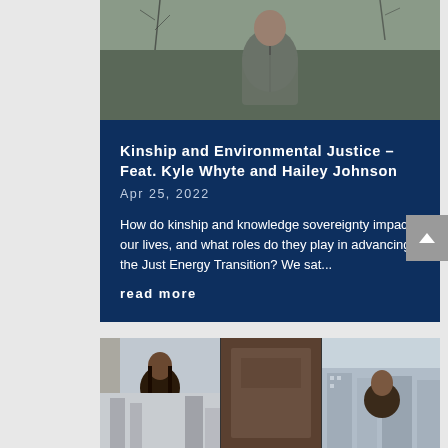[Figure (photo): Person wearing a gray jacket outdoors with bare trees in background]
Kinship and Environmental Justice – Feat. Kyle Whyte and Hailey Johnson
Apr 25, 2022
How do kinship and knowledge sovereignty impact our lives, and what roles do they play in advancing the Just Energy Transition? We sat...
read more
[Figure (photo): Two people photographed in a split composite image, one indoors and one with a city building background]